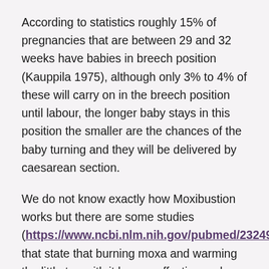According to statistics roughly 15% of pregnancies that are between 29 and 32 weeks have babies in breech position (Kauppila 1975), although only 3% to 4% of these will carry on in the breech position until labour, the longer baby stays in this position the smaller are the chances of the baby turning and they will be delivered by caesarean section.
We do not know exactly how Moxibustion works but there are some studies (https://www.ncbi.nlm.nih.gov/pubmed/23249535) that state that burning moxa and warming the little toe with it has an effective and safe way to correct babies' breech position when used in 32 to 35 week of pregnancy.
Women who have intentions to use this Chinese